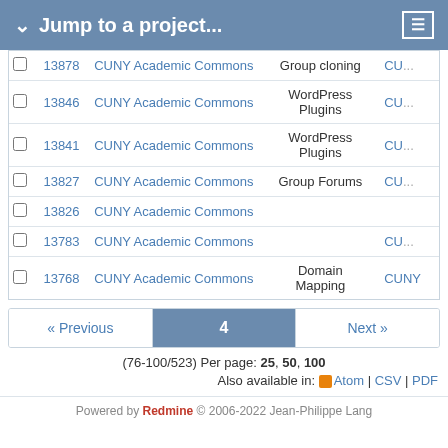Jump to a project...
|  | # | Project | Category | Sub |
| --- | --- | --- | --- | --- |
|  | 13878 | CUNY Academic Commons | Group cloning | CU... |
|  | 13846 | CUNY Academic Commons | WordPress Plugins | CU... |
|  | 13841 | CUNY Academic Commons | WordPress Plugins | CU... |
|  | 13827 | CUNY Academic Commons | Group Forums | CU... |
|  | 13826 | CUNY Academic Commons |  |  |
|  | 13783 | CUNY Academic Commons |  | CU... |
|  | 13768 | CUNY Academic Commons | Domain Mapping | CUNY... |
« Previous  4  Next »
(76-100/523) Per page: 25, 50, 100
Also available in: Atom | CSV | PDF
Powered by Redmine © 2006-2022 Jean-Philippe Lang